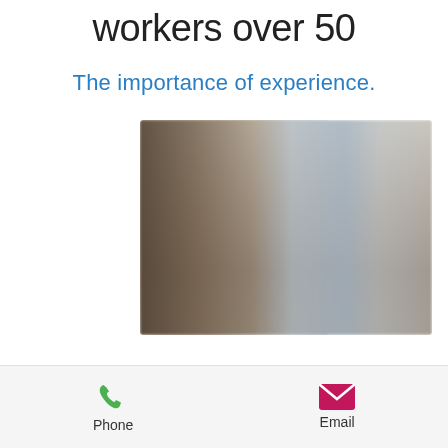workers over 50
The importance of experience.
[Figure (photo): Blurry photo of two people in an office or work setting, one standing and one seated, with bright window light in the background]
In a recent ABC news article, Gary Martin, head of the Australian Institute
Phone   Email